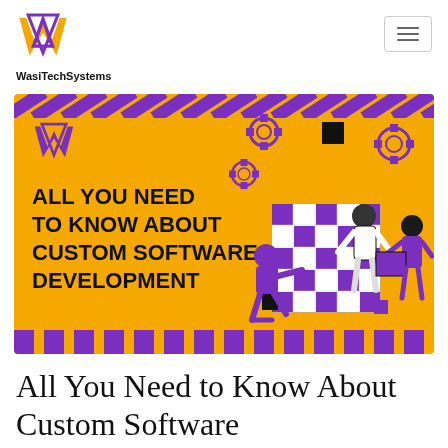[Figure (logo): WasiTechSystems logo: gold and purple W-shaped icon with triangle]
[Figure (screenshot): Banner image with yellow background, diagonal purple/yellow stripes top and bottom, WasiTechSystems logo in purple, bold black text reading ALL YOU NEED TO KNOW ABOUT CUSTOM SOFTWARE DEVELOPMENT, illustration of people assembling a checkerboard puzzle with gears, purple and black accents]
All You Need to Know About Custom Software